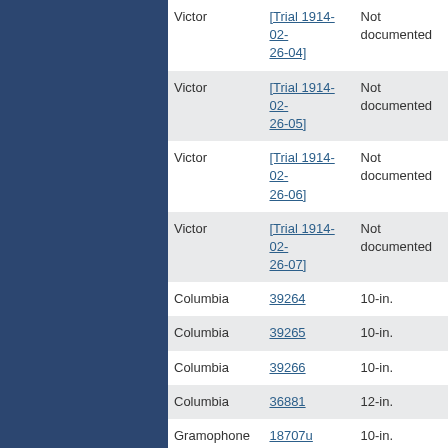| Label | Catalog Number | Size |
| --- | --- | --- |
| Victor | [Trial 1914-02-26-04] | Not documented |
| Victor | [Trial 1914-02-26-05] | Not documented |
| Victor | [Trial 1914-02-26-06] | Not documented |
| Victor | [Trial 1914-02-26-07] | Not documented |
| Columbia | 39264 | 10-in. |
| Columbia | 39265 | 10-in. |
| Columbia | 39266 | 10-in. |
| Columbia | 36881 | 12-in. |
| Gramophone | 18707u | 10-in. |
| Gramophone | 18708u | 10-in. |
| Gramophone | 18709u | 10-in. |